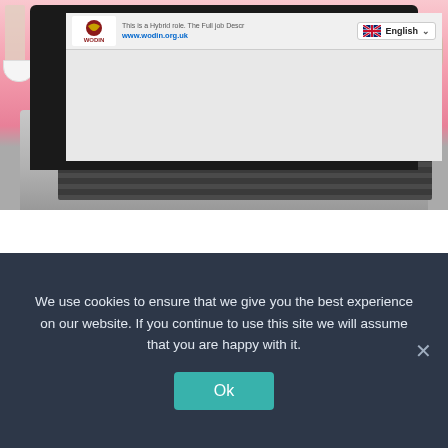[Figure (screenshot): Screenshot of a laptop on a pink desk surface showing the WODIN website with a job listing page. The browser shows the WODIN logo, a URL (www.wodin.org.uk), text 'This is a Hybrid role. The full job Descr...', and an English language selector with UK flag. Below the laptop screen shows a keyboard. Kitchen items (bowl, utensils, cup) are visible on the pink desk.]
[Figure (photo): Partial view of a tablet or sign displaying 'We're Hiring!' text in bold black with a teal/blue underline, on a white background with a dark border/frame.]
We use cookies to ensure that we give you the best experience on our website. If you continue to use this site we will assume that you are happy with it.